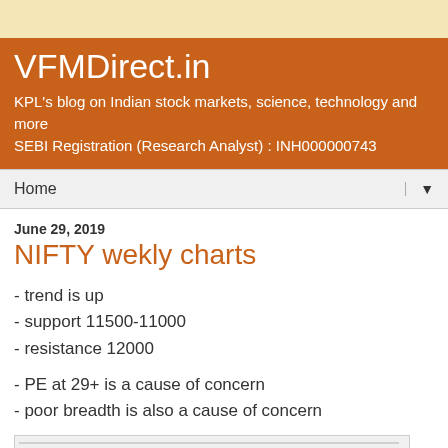VFMDirect.in
KPL's blog on Indian stock markets, science, technology and more
SEBI Registration (Research Analyst) : INH000000743
Home
June 29, 2019
NIFTY wekly charts
- trend is up
- support 11500-11000
- resistance 12000
- PE at 29+ is a cause of concern
- poor breadth is also a cause of concern
[Figure (screenshot): Partial preview of a NIFTY weekly chart at the bottom of the page]